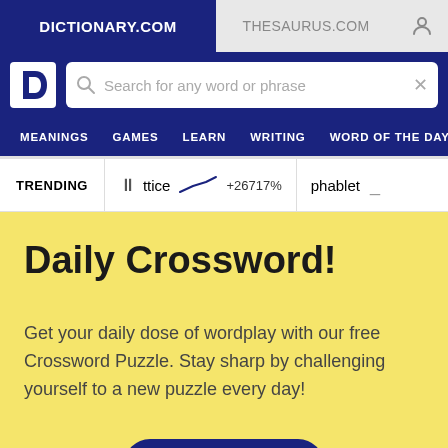DICTIONARY.COM | THESAURUS.COM
[Figure (screenshot): Dictionary.com logo - white letter D on dark blue background]
Search for any word or phrase
MEANINGS  GAMES  LEARN  WRITING  WORD OF THE DAY
TRENDING  lattice +26717%  phablet
Daily Crossword!
Get your daily dose of wordplay with our free Crossword Puzzle. Stay sharp by challenging yourself to a new puzzle every day!
Try Now